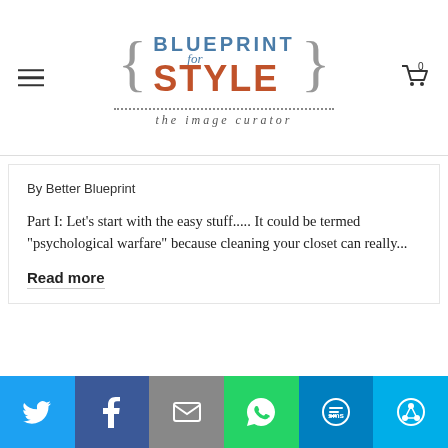[Figure (logo): Blueprint for Style - the image curator logo with decorative brackets, blue 'BLUEPRINT' text, italic 'for', orange 'STYLE' text, dotted line, and tagline 'the image curator']
By Better Blueprint
Part I: Let's start with the easy stuff..... It could be termed "psychological warfare" because cleaning your closet can really...
Read more
[Figure (infographic): Social share bar with Twitter (blue), Facebook (dark blue), Email (gray), WhatsApp (green), SMS (blue), and More (light blue) buttons]